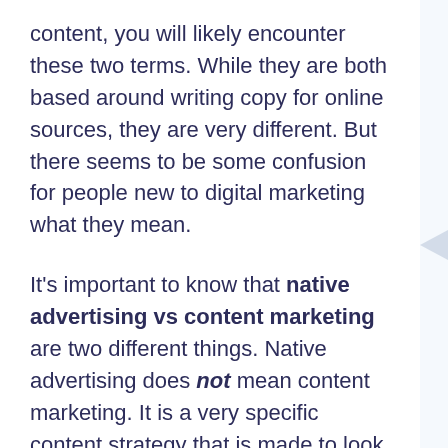content, you will likely encounter these two terms. While they are both based around writing copy for online sources, they are very different. But there seems to be some confusion for people new to digital marketing what they mean.
It's important to know that native advertising vs content marketing are two different things. Native advertising does not mean content marketing. It is a very specific content strategy that is made to look like it's the same thing.
If you want to get the most out of each marketing strategy, it's important to know the differences between them. That's why we wrote